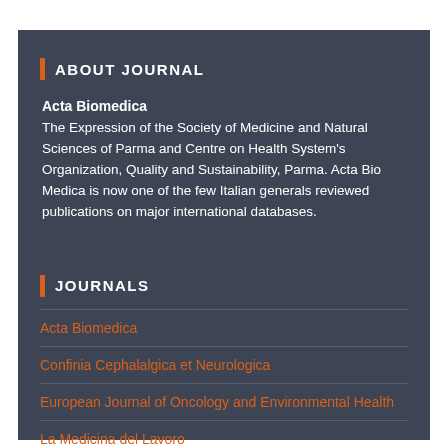ABOUT JOURNAL
Acta Biomedica
The Expression of the Society of Medicine and Natural Sciences of Parma and Centre on Health System's Organization, Quality and Sustainability, Parma. Acta Bio Medica is now one of the few Italian generals reviewed publications on major international databases.
JOURNALS
Acta Biomedica
Confinia Cephalalgica et Neurologica
European Journal of Oncology and Environmental Health
La Medicina del Lavoro